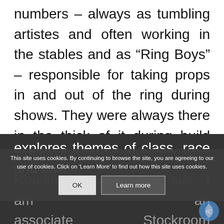numbers – always as tumbling artistes and often working in the stables and as “Ring Boys” – responsible for taking props in and out of the ring during shows. They were always there in the thick of it during build up’s and pull down’s. My play, Rock the Casbah, is a love story of twin brothers who become estranged. It explores themes of class, race and love.
This site uses cookies. By continuing to browse the site, you are agreeing to our use of cookies. Click on 'Learn More' to find out how this site uses cookies.
Routines YouTube tutorials. I am an associate Stockroom (formerly known as Out of Joint), training to be